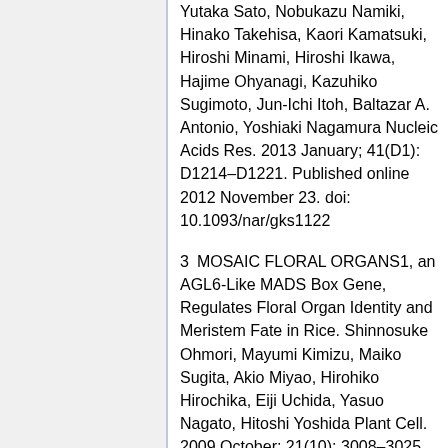Yutaka Sato, Nobukazu Namiki, Hinako Takehisa, Kaori Kamatsuki, Hiroshi Minami, Hiroshi Ikawa, Hajime Ohyanagi, Kazuhiko Sugimoto, Jun-Ichi Itoh, Baltazar A. Antonio, Yoshiaki Nagamura Nucleic Acids Res. 2013 January; 41(D1): D1214–D1221. Published online 2012 November 23. doi: 10.1093/nar/gks1122
3 MOSAIC FLORAL ORGANS1, an AGL6-Like MADS Box Gene, Regulates Floral Organ Identity and Meristem Fate in Rice. Shinnosuke Ohmori, Mayumi Kimizu, Maiko Sugita, Akio Miyao, Hirohiko Hirochika, Eiji Uchida, Yasuo Nagato, Hitoshi Yoshida Plant Cell. 2009 October; 21(10): 3008–3025. doi: 10.1105/tpc.109.068742
4 Rice MADS6 Interacts with the Floral